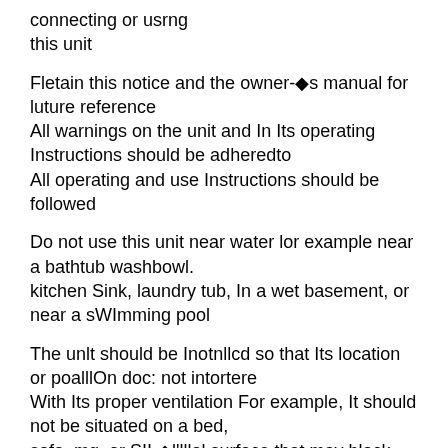connecting or usrng this unit
Fletain this notice and the owner-◆s manual for luture reference
All warnings on the unit and In Its operating Instructions should be adheredto
All operating and use Instructions should be followed
Do not use this unit near water lor example near a bathtub washbowl.
kitchen Sink, laundry tub, In a wet basement, or near a sWImming pool
The unlt should be Inotnllcd so that Its location or poalllOn doc: not intortere
With Its proper ventilation For example, It should not be situated on a bed,
sofa, mg. or SII-◆l'lllal surface that may block the ventilation openings or